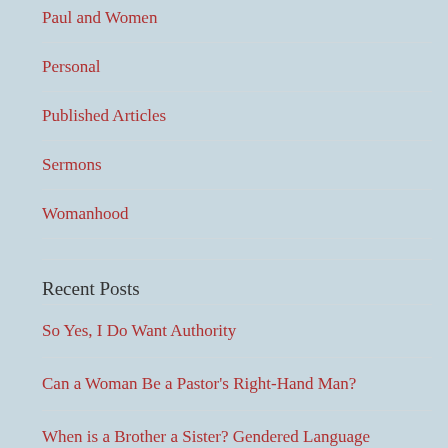Paul and Women
Personal
Published Articles
Sermons
Womanhood
Recent Posts
So Yes, I Do Want Authority
Can a Woman Be a Pastor's Right-Hand Man?
When is a Brother a Sister? Gendered Language